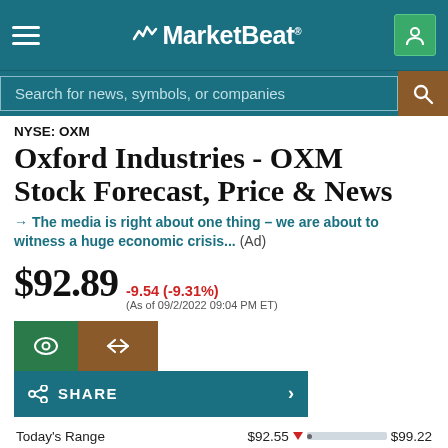MarketBeat
Search for news, symbols, or companies
NYSE: OXM
Oxford Industries - OXM Stock Forecast, Price & News
→ The media is right about one thing – we are about to witness a huge economic crisis... (Ad)
$92.89 -9.54 (-9.31%) (As of 09/2/2022 09:04 PM ET)
SHARE
Today's Range $92.55 $99.22